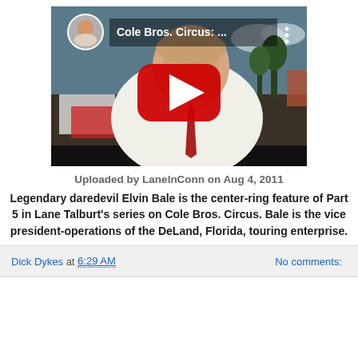[Figure (screenshot): YouTube video thumbnail showing a man in a white shirt and tie, outdoors near circus vehicles. Overlay shows YouTube play button and title 'Cole Bros. Circus: ...' with uploader avatar.]
Uploaded by LaneInConn on Aug 4, 2011
Legendary daredevil Elvin Bale is the center-ring feature of Part 5 in Lane Talburt's series on Cole Bros. Circus. Bale is the vice president-operations of the DeLand, Florida, touring enterprise.
Dick Dykes at 6:29 AM   No comments: